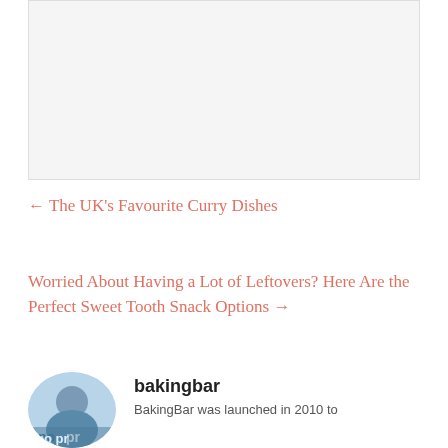[Figure (photo): White/light gray rectangular image placeholder area]
← The UK's Favourite Curry Dishes
Worried About Having a Lot of Leftovers? Here Are the Perfect Sweet Tooth Snack Options →
[Figure (photo): Circular avatar photo of a man, author profile picture]
bakingbar
BakingBar was launched in 2010 to